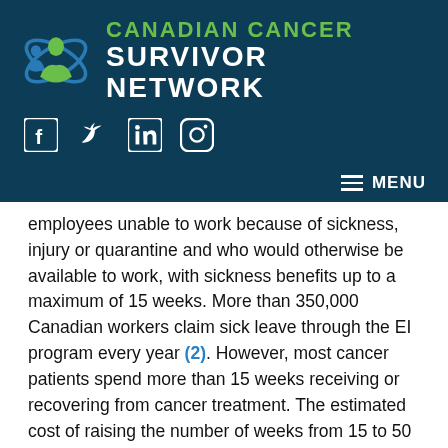[Figure (logo): Canadian Cancer Survivor Network logo with teal background, green human figure icon, and white/green text]
[Figure (infographic): Social media icons: Facebook, Twitter, LinkedIn, Instagram on dark teal background]
MENU navigation bar
employees unable to work because of sickness, injury or quarantine and who would otherwise be available to work, with sickness benefits up to a maximum of 15 weeks. More than 350,000 Canadian workers claim sick leave through the EI program every year (2). However, most cancer patients spend more than 15 weeks receiving or recovering from cancer treatment. The estimated cost of raising the number of weeks from 15 to 50 would only raise the EI premium by a total of 6-cents from the baseline rate of $1.62 per $100 of insurable earnings (3).